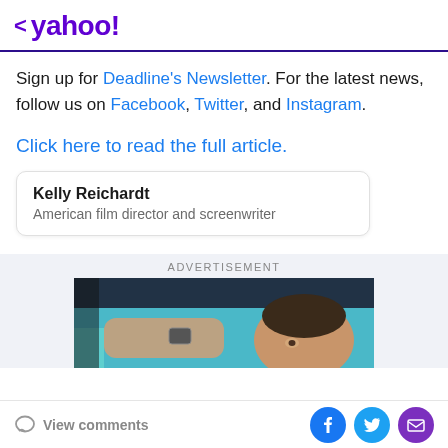< yahoo!
Sign up for Deadline's Newsletter. For the latest news, follow us on Facebook, Twitter, and Instagram.
Click here to read the full article.
Kelly Reichardt
American film director and screenwriter
[Figure (photo): Advertisement banner showing a person in a car, close-up of face and hand with watch against teal interior]
View comments | Facebook | Twitter | Email